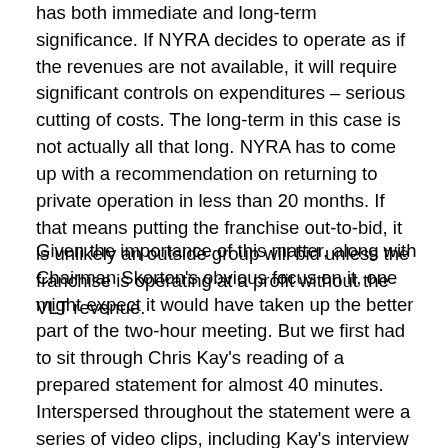has both immediate and long-term significance. If NYRA decides to operate as if the revenues are not available, it will require significant controls on expenditures – serious cutting of costs. The long-term in this case is not actually all that long. NYRA has to come up with a recommendation on returning to private operation in less than 20 months. If that means putting the franchise out-to-bid, it is unlikely an outside group will bid unless the franchise is operating at a profit without the VLT revenue.
Given the importance of this matter, along with Chairman Skorton's obvious focus on it, one might expect it would have taken up the better part of the two-hour meeting. But we first had to sit through Chris Kay's reading of a prepared statement for almost 40 minutes. Interspersed throughout the statement were a series of video clips, including Kay's interview on NBC on Travers Day, Kay's